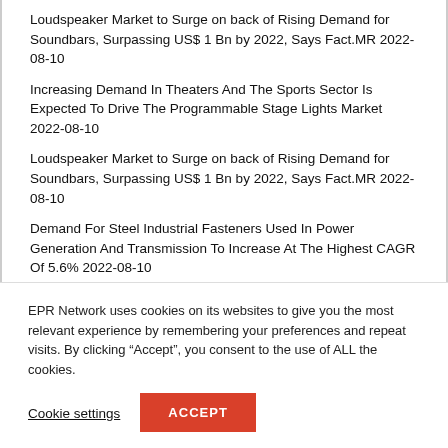Loudspeaker Market to Surge on back of Rising Demand for Soundbars, Surpassing US$ 1 Bn by 2022, Says Fact.MR 2022-08-10
Increasing Demand In Theaters And The Sports Sector Is Expected To Drive The Programmable Stage Lights Market 2022-08-10
Loudspeaker Market to Surge on back of Rising Demand for Soundbars, Surpassing US$ 1 Bn by 2022, Says Fact.MR 2022-08-10
Demand For Steel Industrial Fasteners Used In Power Generation And Transmission To Increase At The Highest CAGR Of 5.6% 2022-08-10
EPR Network uses cookies on its websites to give you the most relevant experience by remembering your preferences and repeat visits. By clicking “Accept”, you consent to the use of ALL the cookies.
Cookie settings
ACCEPT